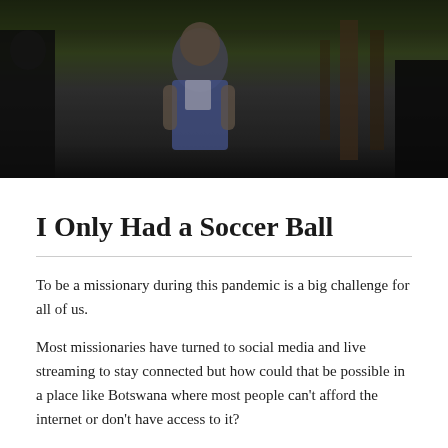[Figure (photo): Dark photograph showing a person in a blue and white sleeveless top, with wooden structures visible in the background. The image is dark/low-light.]
I Only Had a Soccer Ball
To be a missionary during this pandemic is a big challenge for all of us.
Most missionaries have turned to social media and live streaming to stay connected but how could that be possible in a place like Botswana where most people can't afford the internet or don't have access to it?
Before lockdown started, I bought a soccer ball because I wanted to have something to do during my time at home. In the beginning, there weren't many cases of COVID-19 in the